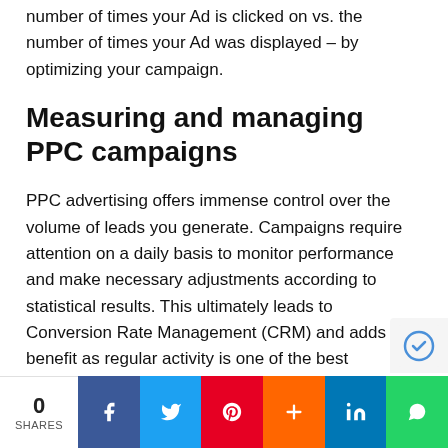number of times your Ad is clicked on vs. the number of times your Ad was displayed – by optimizing your campaign.
Measuring and managing PPC campaigns
PPC advertising offers immense control over the volume of leads you generate. Campaigns require attention on a daily basis to monitor performance and make necessary adjustments according to statistical results. This ultimately leads to Conversion Rate Management (CRM) and adds benefit as regular activity is one of the best predictors of account success. These continu...
0 SHARES | Facebook | Twitter | Pinterest | Plus | LinkedIn | WhatsApp